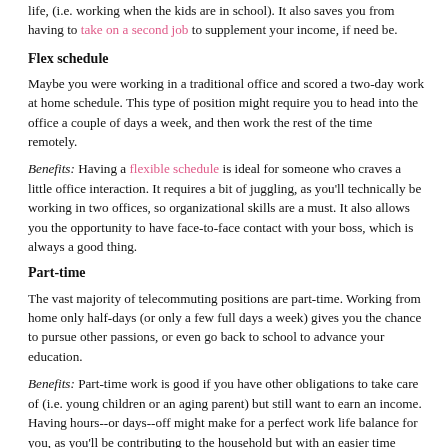to not only earn more money, but it also gives you a more stable schedule. It's ideal for moms who are looking for more consistency in their work life, (i.e. working when the kids are in school). It also saves you from having to take on a second job to supplement your income, if need be.
Flex schedule
Maybe you were working in a traditional office and scored a two-day work at home schedule. This type of position might require you to head into the office a couple of days a week, and then work the rest of the time remotely.
Benefits: Having a flexible schedule is ideal for someone who craves a little office interaction. It requires a bit of juggling, as you'll technically be working in two offices, so organizational skills are a must. It also allows you the opportunity to have face-to-face contact with your boss, which is always a good thing.
Part-time
The vast majority of telecommuting positions are part-time. Working from home only half-days (or only a few full days a week) gives you the chance to pursue other passions, or even go back to school to advance your education.
Benefits: Part-time work is good if you have other obligations to take care of (i.e. young children or an aging parent) but still want to earn an income. Having hours--or days--off might make for a perfect work life balance for you, as you'll be contributing to the household but with an easier time commitment.
Freelance Work